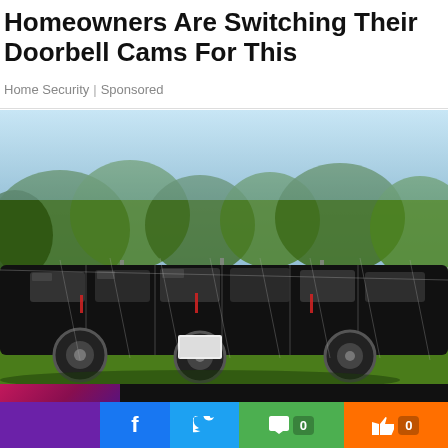Homeowners Are Switching Their Doorbell Cams For This
Home Security | Sponsored
[Figure (photo): Photo of large black SUV/limousine-style vehicle parked behind a chain-link fence, with green trees and blue sky in background]
[Figure (screenshot): Video overlay showing a dark thumbnail with pink/purple colors and a play button, text reads: KSI & Swarmz face-off ???????? #shorts #ksi, with a close button]
[Figure (infographic): Social sharing bar with purple, Facebook (f), Twitter (bird), comment icon with 0, thumbs up with 0 sections in green and orange]